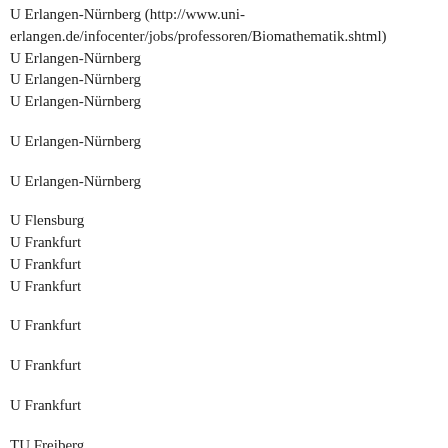U Erlangen-Nürnberg (http://www.uni-erlangen.de/infocenter/jobs/professoren/Biomathematik.shtml)
U Erlangen-Nürnberg
U Erlangen-Nürnberg
U Erlangen-Nürnberg
U Erlangen-Nürnberg
U Erlangen-Nürnberg
U Flensburg
U Frankfurt
U Frankfurt
U Frankfurt
U Frankfurt
U Frankfurt
U Frankfurt
TU Freiberg
TU Freiberg (http://tu-freiberg.de/sites/default/files/w3-professur-fue...)